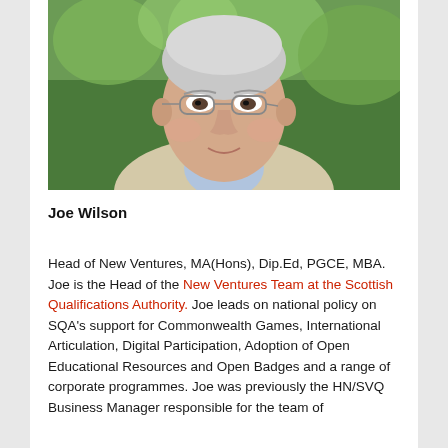[Figure (photo): Headshot of Joe Wilson, a middle-aged man with short white/grey hair and wire-rimmed glasses, wearing a light beige jacket and blue shirt, photographed outdoors with green foliage background.]
Joe Wilson
Head of New Ventures, MA(Hons), Dip.Ed, PGCE, MBA. Joe is the Head of the New Ventures Team at the Scottish Qualifications Authority. Joe leads on national policy on SQA's support for Commonwealth Games, International Articulation, Digital Participation, Adoption of Open Educational Resources and Open Badges and a range of corporate programmes. Joe was previously the HN/SVQ Business Manager responsible for the team of